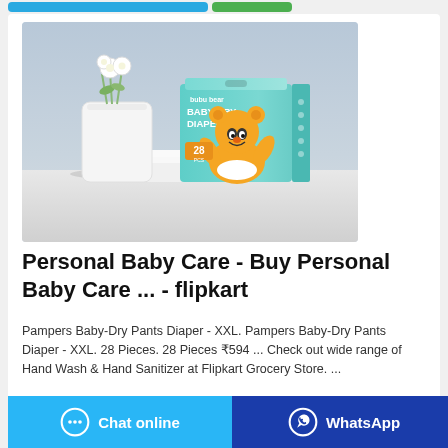[Figure (photo): Product photo of bubu bear Baby-Dry Diapers box (28 pieces) with teal/mint packaging featuring a cartoon bear character, placed on white folded fabric with a white flower vase in the background, against a light blue/grey background.]
Personal Baby Care - Buy Personal Baby Care ... - flipkart
Pampers Baby-Dry Pants Diaper - XXL. Pampers Baby-Dry Pants Diaper - XXL. 28 Pieces. 28 Pieces ₹594 ... Check out wide range of Hand Wash & Hand Sanitizer at Flipkart Grocery Store. ...
[Figure (other): Chat online button (light blue background, chat bubble icon)]
[Figure (other): WhatsApp button (dark blue background, WhatsApp logo icon)]